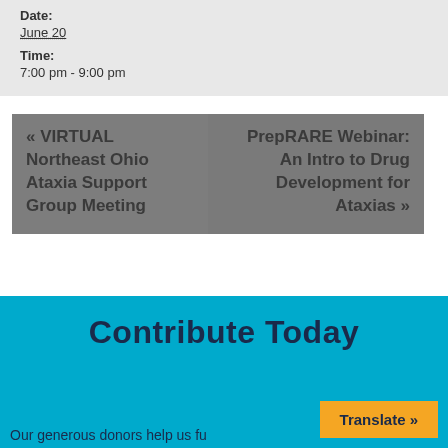Date: June 20
Time: 7:00 pm - 9:00 pm
« VIRTUAL Northeast Ohio Ataxia Support Group Meeting
PrepRARE Webinar: An Intro to Drug Development for Ataxias »
Contribute Today
Our generous donors help us fu...
Translate »